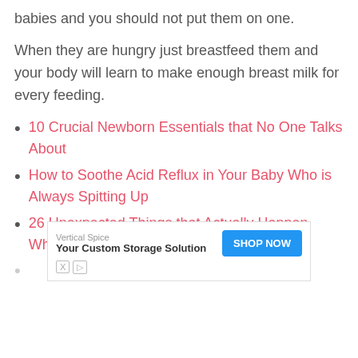babies and you should not put them on one.
When they are hungry just breastfeed them and your body will learn to make enough breast milk for every feeding.
10 Crucial Newborn Essentials that No One Talks About
How to Soothe Acid Reflux in Your Baby Who is Always Spitting Up
26 Unexpected Things that Actually Happen When You are a Breastfeeding Mom
[Figure (screenshot): Advertisement banner: Vertical Spice - Your Custom Storage Solution with a blue SHOP NOW button and ad icons]